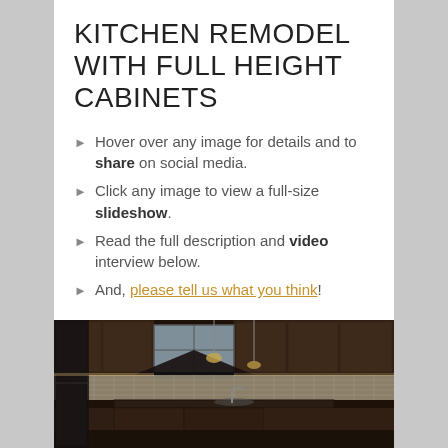KITCHEN REMODEL WITH FULL HEIGHT CABINETS
Hover over any image for details and to share on social media.
Click any image to view a full-size slideshow.
Read the full description and video interview below.
And, please tell us what you think!
[Figure (photo): Kitchen remodel photo showing dark wood full-height cabinets, pendant lights over an island, stainless appliances, and mosaic tile backsplash]